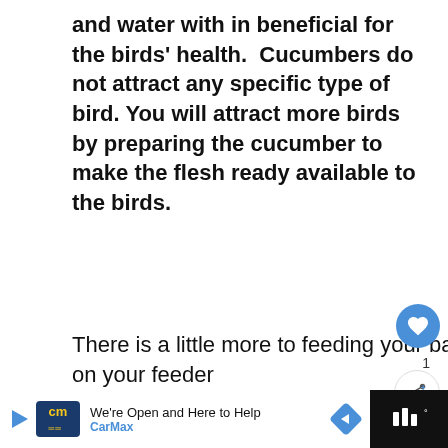and water with in beneficial for the birds' health.  Cucumbers do not attract any specific type of bird. You will attract more birds by preparing the cucumber to make the flesh ready available to the birds.
There is a little more to feeding your backyard birds' cucumber them simply placing one on your feeder
[Figure (screenshot): UI overlay elements: heart/like button (blue circle), share count '1', share button, thumbnail card with 'WHAT'S N... Can Bir... Strawbe...' text and red bowl image]
[Figure (screenshot): Advertisement bar at bottom: CarMax ad with logo, 'We're Open and Here to Help' text, blue navigation arrow icon, dark right section with TV/antenna icon]